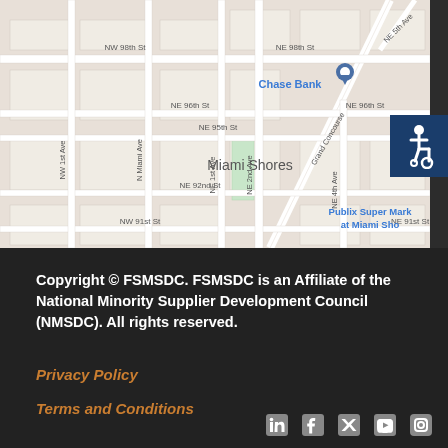[Figure (map): Google Maps screenshot showing Miami Shores area with streets including NE 98th St, NW 98th St, NE 96th St, NE 95th St, NE 92nd St, NE 91st St, NW 91st St, NE 2nd Ave, NE 1st Ave, N Miami Ave, NW 1st Ave, NE 4th Ave, NE 5th Ave, Grand Concourse. Chase Bank marker visible. Publix Super Market at Miami Shores visible. Accessibility icon in top right corner.]
Copyright © FSMSDC. FSMSDC is an Affiliate of the National Minority Supplier Development Council (NMSDC). All rights reserved.
Privacy Policy
Terms and Conditions